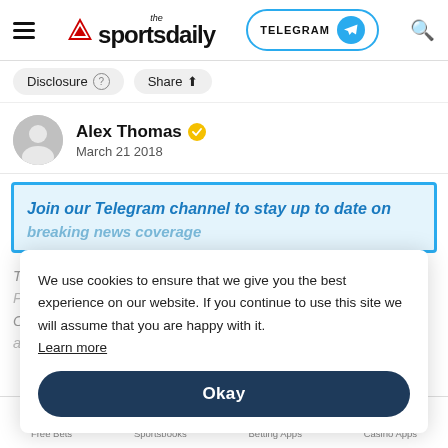the sportsdaily — TELEGRAM
Disclosure  Share
Alex Thomas  March 21 2018
Join our Telegram channel to stay up to date on breaking news coverage
The NHL trade deadline has come and gone, but GM Peter Chiarelli is still making moves for the Edmonton Oilers. On Wednesday, the club announced that they were acquiring...
We use cookies to ensure that we give you the best experience on our website. If you continue to use this site we will assume that you are happy with it. Learn more
Okay
Free Bets  Sportsbooks  Betting Apps  Casino Apps